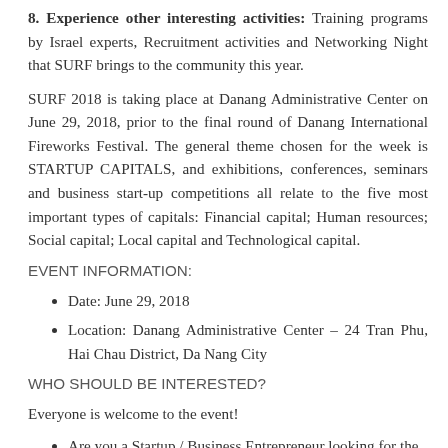8. Experience other interesting activities: Training programs by Israel experts, Recruitment activities and Networking Night that SURF brings to the community this year.
SURF 2018 is taking place at Danang Administrative Center on June 29, 2018, prior to the final round of Danang International Fireworks Festival. The general theme chosen for the week is STARTUP CAPITALS, and exhibitions, conferences, seminars and business start-up competitions all relate to the five most important types of capitals: Financial capital; Human resources; Social capital; Local capital and Technological capital.
EVENT INFORMATION:
Date: June 29, 2018
Location: Danang Administrative Center – 24 Tran Phu, Hai Chau District, Da Nang City
WHO SHOULD BE INTERESTED?
Everyone is welcome to the event!
Are you a Startup / Business Entrepreneur looking for the